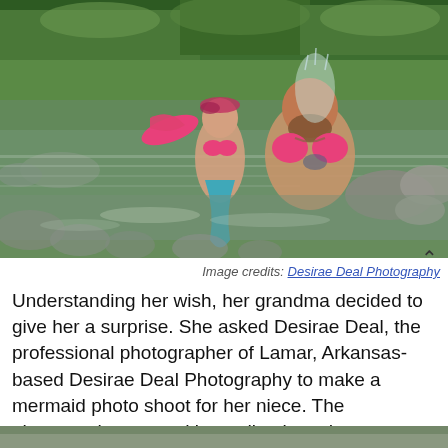[Figure (photo): A man wearing a pink bikini top and a young girl dressed as a mermaid with a pink and teal tail and fin, both in a rocky river with trees in the background. Water is splashing around them.]
Image credits: Desirae Deal Photography
Understanding her wish, her grandma decided to give her a surprise. She asked Desirae Deal, the professional photographer of Lamar, Arkansas-based Desirae Deal Photography to make a mermaid photo shoot for her niece. The photographer agreed immediately and was excited to use her skill to turn Aspen's dream into reality.